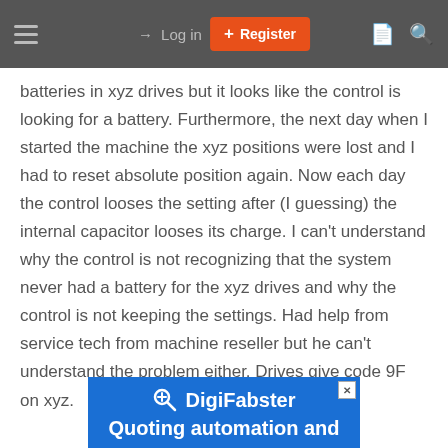Log in | Register
batteries in xyz drives but it looks like the control is looking for a battery. Furthermore, the next day when I started the machine the xyz positions were lost and I had to reset absolute position again. Now each day the control looses the setting after (I guessing) the internal capacitor looses its charge. I can't understand why the control is not recognizing that the system never had a battery for the xyz drives and why the control is not keeping the settings. Had help from service tech from machine reseller but he can't understand the problem either. Drives give code 9F on xyz.
[Figure (other): DigiFabster advertisement banner with blue background showing logo and text 'Quoting automation and']